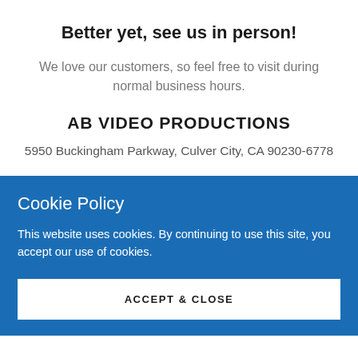Better yet, see us in person!
We love our customers, so feel free to visit during normal business hours.
AB VIDEO PRODUCTIONS
5950 Buckingham Parkway, Culver City, CA 90230-6778
Cookie Policy
This website uses cookies. By continuing to use this site, you accept our use of cookies.
ACCEPT & CLOSE